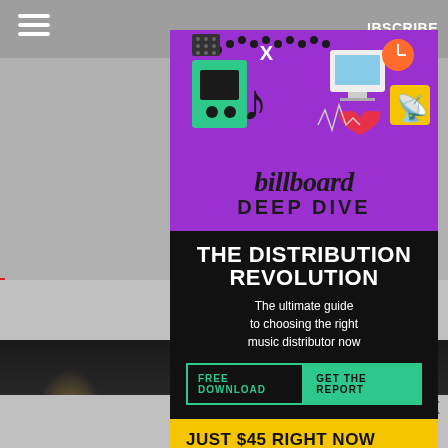[Figure (screenshot): Billboard Deep Dive advertisement overlay on a webpage. Purple background with TikTok-related icons (music notes, heart, speaker, etc.) at top, billboard logo and 'DEEP DIVE' text, then black section with 'THE DISTRIBUTION REVOLUTION' headline, subtitle 'The ultimate guide to choosing the right music distributor now', FREE DOWNLOAD / GET THE REPORT buttons, and yellow bar with 'JUST $45 RIGHT NOW'.]
SUBSCRIBE
THE DISTRIBUTION REVOLUTION
The ultimate guide to choosing the right music distributor now
FREE DOWNLOAD    GET THE REPORT
JUST $45 RIGHT NOW